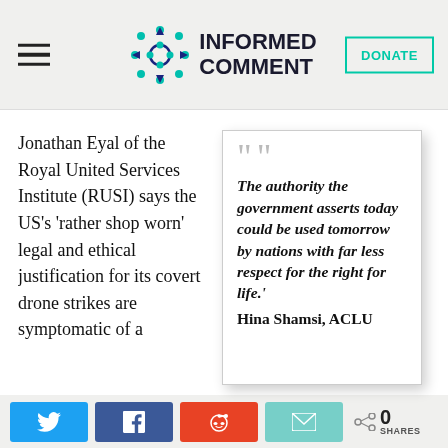Informed Comment
Jonathan Eyal of the Royal United Services Institute (RUSI) says the US’s ‘rather shop worn’ legal and ethical justification for its covert drone strikes are symptomatic of a
“The authority the government asserts today could be used tomorrow by nations with far less respect for the right for life.’ Hina Shamsi, ACLU